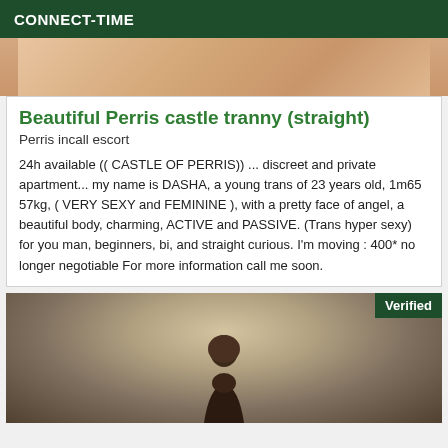CONNECT-TIME
[Figure (photo): Top portion of a photo showing skin/body, cropped]
Beautiful Perris castle tranny (straight)
Perris incall escort
24h available (( CASTLE OF PERRIS)) ... discreet and private apartment... my name is DASHA, a young trans of 23 years old, 1m65 57kg, ( VERY SEXY and FEMININE ), with a pretty face of angel, a beautiful body, charming, ACTIVE and PASSIVE. (Trans hyper sexy) for you man, beginners, bi, and straight curious. I'm moving : 400* no longer negotiable For more information call me soon.
[Figure (photo): Photo of a person outdoors with bare trees in background, with a Verified badge in top right corner]